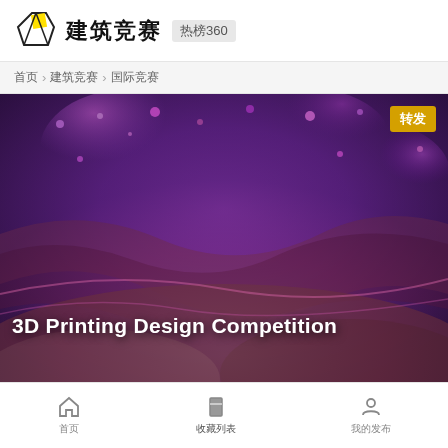建筑竞赛 热榜360
首页 > 建筑竞赛 > 国际竞赛
[Figure (photo): 3D Printing Design Competition promotional banner image with abstract purple and magenta glowing shapes on a dark background. A yellow button labeled '转发' (forward/share) appears in the top right corner. White bold text reads '3D Printing Design Competition' overlaid on the image.]
首页   收藏列表   我的发布